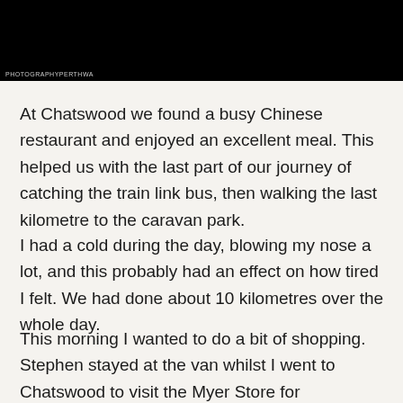[Figure (photo): Black photo/image block at the top of the page with a watermark label 'PHOTOGRAPHYPERTHWA' at the bottom left]
At Chatswood we found a busy Chinese restaurant and enjoyed an excellent meal. This helped us with the last part of our journey of catching the train link bus, then walking the last kilometre to the caravan park.
I had a cold during the day, blowing my nose a lot, and this probably had an effect on how tired I felt. We had done about 10 kilometres over the whole day.
This morning I wanted to do a bit of shopping. Stephen stayed at the van whilst I went to Chatswood to visit the Myer Store for underwear. They had an excellent